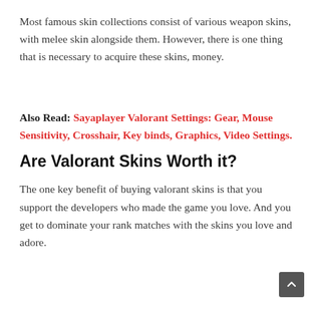Most famous skin collections consist of various weapon skins, with melee skin alongside them. However, there is one thing that is necessary to acquire these skins, money.
Also Read: Sayaplayer Valorant Settings: Gear, Mouse Sensitivity, Crosshair, Key binds, Graphics, Video Settings.
Are Valorant Skins Worth it?
The one key benefit of buying valorant skins is that you support the developers who made the game you love. And you get to dominate your rank matches with the skins you love and adore.